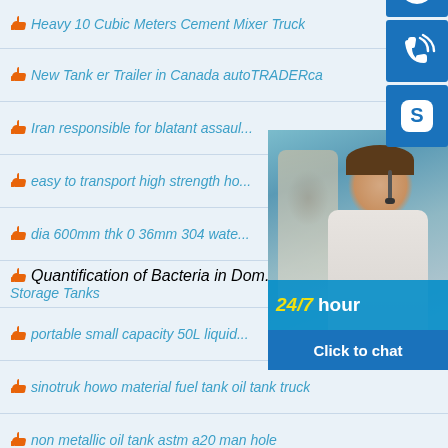Heavy 10 Cubic Meters Cement Mixer Truck
New Tank er Trailer in Canada autoTRADERca
Iran responsible for blatant assault… [truncated by overlay]
easy to transport high strength ho… [truncated by overlay]
dia 600mm thk 0 36mm 304 wate… [truncated by overlay]
Quantification of Bacteria in Domes… Storage Tanks
portable small capacity 50L liquid… [truncated by overlay]
sinotruk howo material fuel tank oil tank truck
non metallic oil tank astm a20 man hole
cheap and biogas lpg storage tank
[Figure (screenshot): Chat widget overlay showing customer service rep photo, '24/7 hour' text bar, three blue icon buttons (headset, phone, Skype), and 'Click to chat' button]